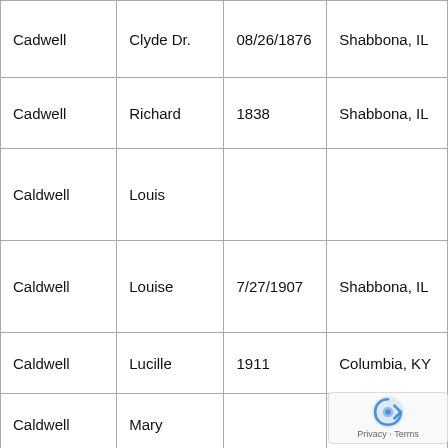| Cadwell | Clyde Dr. | 08/26/1876 | Shabbona, IL |
| Cadwell | Richard | 1838 | Shabbona, IL |
| Caldwell | Louis |  |  |
| Caldwell | Louise | 7/27/1907 | Shabbona, IL |
| Caldwell | Lucille | 1911 | Columbia, KY |
| Caldwell | Mary |  | Janesville, WI |
| Calhoon | B. Irene | 2/9/1909 | Bellmo... |